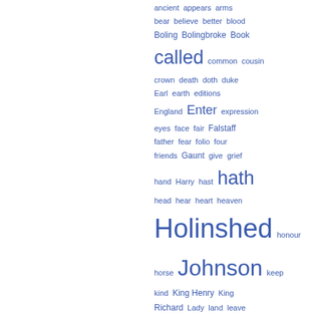[Figure (infographic): A word cloud / tag cloud on the right half of the page showing index terms in blue of varying sizes. Words include: ancient, appears, arms, bear, believe, better, blood, Boling, Bolingbroke, Book, called (large), common, cousin, crown, death, doth, duke, Earl, earth, editions, England, Enter (large), expression, eyes, face, fair, Falstaff, father, fear, folio, four, friends, Gaunt, give, grief, hand, Harry, hast, hath (large), head, hear, heart, heaven, Holinshed (very large), honour, horse, Johnson (very large), keep, kind, King Henry, King Richard, Lady, land, leave, live, look, lord (very large)]